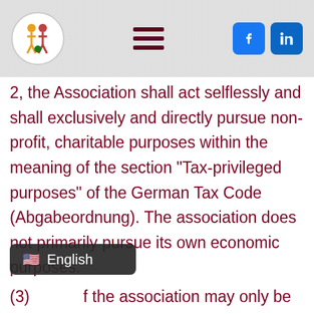[Figure (screenshot): Website navigation header with circular logo showing children figures, hamburger menu icon in dark red, and Facebook and LinkedIn social media icon buttons in blue]
2, the Association shall act selflessly and shall exclusively and directly pursue non-profit, charitable purposes within the meaning of the section "Tax-privileged purposes" of the German Tax Code (Abgabeordnung). The association does not primarily pursue its own economic purposes.
(3) [partially obscured] f the association may only be [obscured] poses in accordance with
[Figure (screenshot): Language selector overlay showing US flag emoji and 'English' text on dark semi-transparent background]